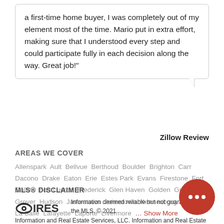a first-time home buyer, I was completely out of my element most of the time. Mario put in extra effort, making sure that I understood every step and could participate fully in each decision along the way. Great job!"
Zillow Review
AREAS WE COVER
Allenspark Ault Bellvue Berthoud Boulder Brighton Carr Dacono Drake Eaton Erie Estes Park Evans Firestone Fort Collins Fort Lupton Frederick Glen Haven Golden Greeley Grover Hudson Jamestown Johnstown Keenesburg Kersey La Salle Lafayette Laporte Livermore ... Show More
MLS® DISCLAIMER
Information deemed reliable but not guaranteed by the MLS. © 2021 Information and Real Estate Services, LLC. Information and Real Estate Services, LLC. Provided for limited non-commercial use only under IRES Rules. © Copyright IRES. The